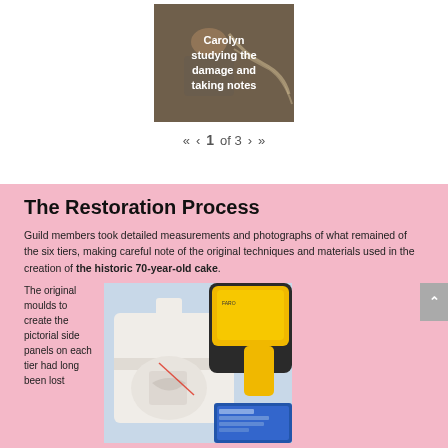[Figure (photo): Photo of Carolyn studying damage and taking notes, overlaid with white bold text]
« ‹ 1 of 3 › »
The Restoration Process
Guild members took detailed measurements and photographs of what remained of the six tiers, making careful note of the original techniques and materials used in the creation of the historic 70-year-old cake.
The original moulds to create the pictorial side panels on each tier had long been lost
[Figure (photo): Photo of a white multi-tier cake with royal coat of arms emblem being scanned by a yellow and black handheld device (FARO scanner), with a laptop screen visible]